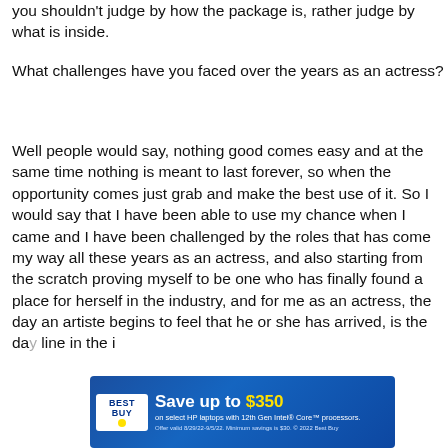you shouldn't judge by how the package is, rather judge by what is inside.
What challenges have you faced over the years as an actress?
Well people would say, nothing good comes easy and at the same time nothing is meant to last forever, so when the opportunity comes just grab and make the best use of it. So I would say that I have been able to use my chance when I came and I have been challenged by the roles that has come my way all these years as an actress, and also starting from the scratch proving myself to be one who has finally found a place for herself in the industry, and for me as an actress, the day an artiste begins to feel that he or she has arrived, is the da[y...] line in the i[ndustry...]
[Figure (other): Best Buy advertisement banner: 'Save up to $350 on select HP laptops with 12th Gen Intel Core processors. Offer valid 8/29/22-9/5/22. Minimum savings is $30. © 2022 Best Buy']